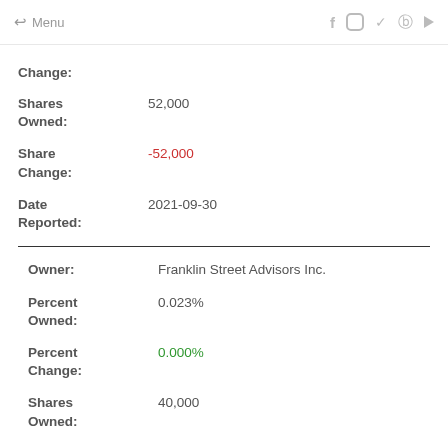← Menu  f  Instagram  Twitter  Pinterest  YouTube
Change:
Shares Owned: 52,000
Share Change: -52,000
Date Reported: 2021-09-30
Owner: Franklin Street Advisors Inc.
Percent Owned: 0.023%
Percent Change: 0.000%
Shares Owned: 40,000